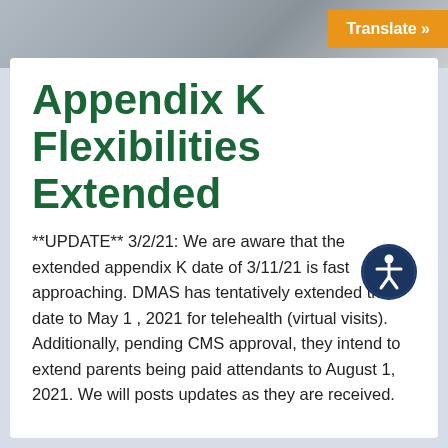[Figure (other): Gray gradient header bar at top of page]
Translate »
Appendix K Flexibilities Extended
[Figure (other): Accessibility icon — dark blue circle with white wheelchair/person symbol]
**UPDATE** 3/2/21: We are aware that the extended appendix K date of 3/11/21 is fast approaching. DMAS has tentatively extended that date to May 1 , 2021 for telehealth (virtual visits). Additionally, pending CMS approval, they intend to extend parents being paid attendants to August 1, 2021. We will posts updates as they are received.